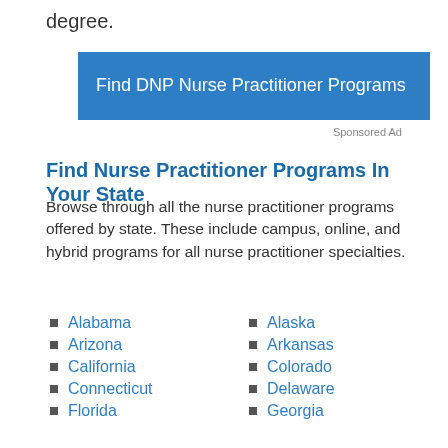degree.
[Figure (other): Blue banner advertisement for 'Find DNP Nurse Practitioner Programs']
Sponsored Ad
Find Nurse Practitioner Programs In Your State
Browse through all the nurse practitioner programs offered by state. These include campus, online, and hybrid programs for all nurse practitioner specialties.
Alabama
Alaska
Arizona
Arkansas
California
Colorado
Connecticut
Delaware
Florida
Georgia